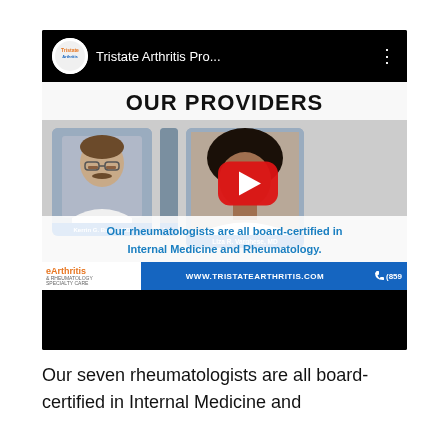[Figure (screenshot): YouTube video thumbnail for 'Tristate Arthritis Pro...' showing 'OUR PROVIDERS' with photos of male and female doctors including Kerrin G. Burke, MD and Liza R. Varghese, MD. Red YouTube play button overlay. Bottom bar shows www.tristatearthritis.com and phone number (859...). Text overlay: 'Our rheumatologists are all board-certified in Internal Medicine and Rheumatology.']
Our seven rheumatologists are all board-certified in Internal Medicine and